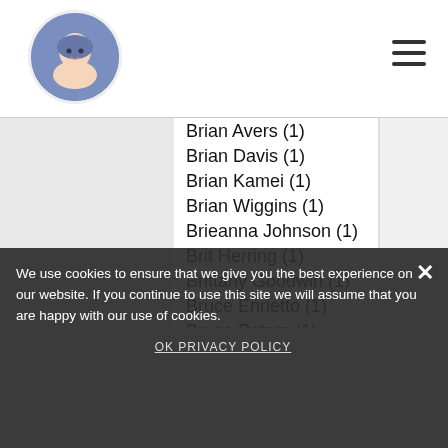Navigation header with logo and hamburger menu
Brian Avers  (1)
Brian Davis  (1)
Brian Kamei  (1)
Brian Wiggins  (1)
Brieanna Johnson  (1)
Brit Herring  (1)
Brittany Goodwin  (1)
Bruce Enrietto  (1)
Bruce Peters  (1)
Bryanna Lee  (1)
Bryson David Hoff  (1)
Bump Turgeson  (4)
Byron Wagner  (1)
Byron Wagner, Walt Brown  (1)
C.C. Sinclair  (2)
C.I. Gray  (2)
C.S. Harder  (2)
Cage Mycan  (1)
Cai Lonergan  (2)
Caitlin Allgood Knight, Shelby Hughes  (1)
Caitlin Jacques (Book 1), Jacqueline DeGraff (Books 2, 3)
We use cookies to ensure that we give you the best experience on our website. If you continue to use this site we will assume that you are happy with our use of cookies.